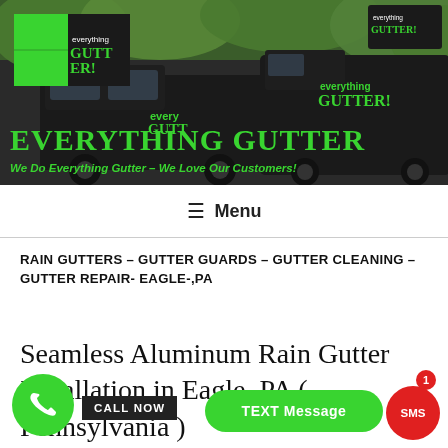[Figure (photo): Hero banner showing Everything Gutter company trucks (black vans with green branding) parked outdoors with trees in background. Green company logo with 'everything GUTTER!' text visible on logo block top-left. Large green bold text 'EVERYTHING GUTTER' overlaid at bottom, with italic subtitle 'We Do Everything Gutter - We Love Our Customers!']
Menu
RAIN GUTTERS – GUTTER GUARDS – GUTTER CLEANING – GUTTER REPAIR- EAGLE-,PA
Seamless Aluminum Rain Gutter Installation in Eagle, PA ( Pennsylvania )